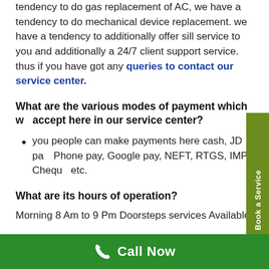tendency to do gas replacement of AC, we have a tendency to do mechanical device replacement. we have a tendency to additionally offer sill service to you and additionally a 24/7 client support service. thus if you have got any queries to contact our service center.
What are the various modes of payment which we accept here in our service center?
you people can make payments here cash, JD pay, Phone pay, Google pay, NEFT, RTGS, IMPS, Cheque etc.
What are its hours of operation?
Morning 8 Am to 9 Pm Doorsteps services Available
Call Now